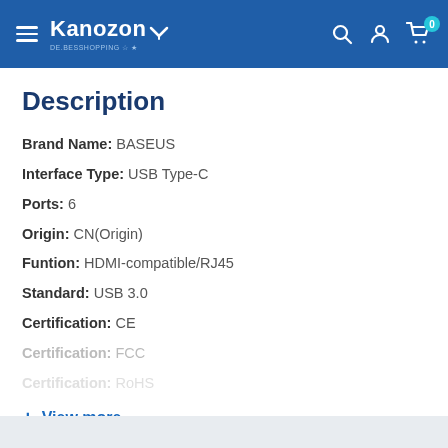Kanozon — navigation header with hamburger menu, logo, search, account, and cart (0 items)
Description
Brand Name: BASEUS
Interface Type: USB Type-C
Ports: 6
Origin: CN(Origin)
Funtion: HDMI-compatible/RJ45
Standard: USB 3.0
Certification: CE
Certification: FCC
Certification: RoHS
+ View more